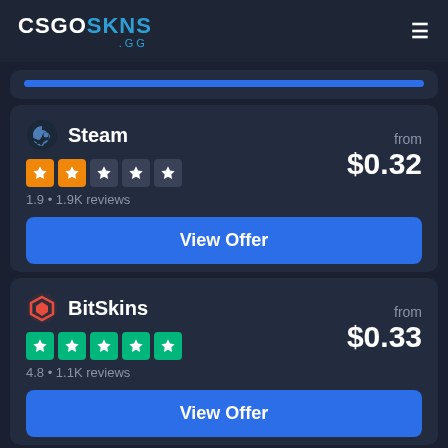CSGOSKINS .GG
[Figure (screenshot): Partial card with blue bar at top]
Steam
1.9 • 1.9K reviews
from $0.32
View Offer
BitSkins
4.8 • 1.1K reviews
from $0.33
View Offer